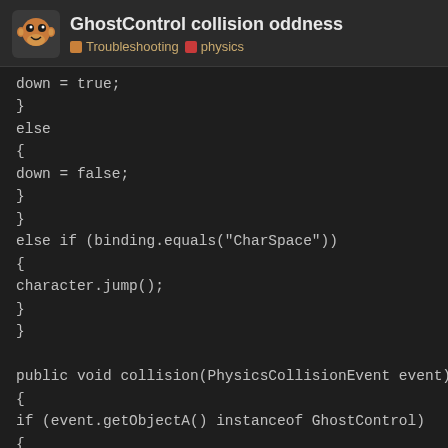GhostControl collision oddness — Troubleshooting | physics
down = true;
}
else
{
down = false;
}
}
else if (binding.equals("CharSpace"))
{
character.jump();
}
}

public void collision(PhysicsCollisionEvent event)
{
if (event.getObjectA() instanceof GhostControl)
{
System.out.println("character collision");
}
1 / 28